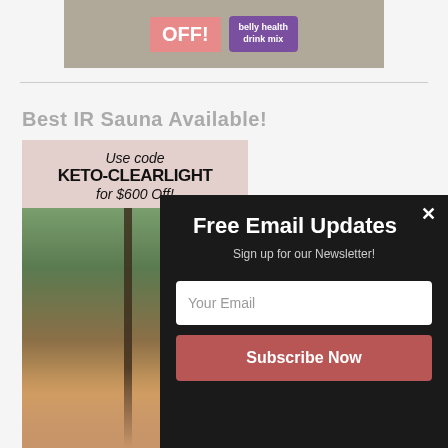[Figure (photo): Top portion of a product promotional image showing 'OFF!' text on a pink/red background and a purple 'belly health drink mix' packet on a rocky/natural background]
Best IR Sauna Available!
[Figure (photo): Photo of an infrared sauna with a promotional overlay showing 'Use code KETO-CLEARLIGHT for $600 Off!' text on a pink background, with a view into the sauna showing wood interior and outdoor greenery]
[Figure (infographic): Email newsletter signup popup overlay with dark background showing 'Free Email Updates', 'Sign up for our Newsletter!', email input field, and 'Subscribe Now' button]